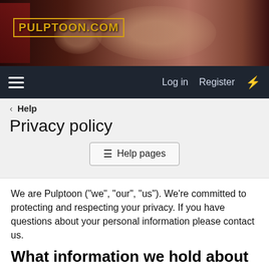[Figure (photo): Pulptoon.com website banner with dark horror-themed imagery and yellow logo text]
Log in  Register
< Help
Privacy policy
≡ Help pages
We are Pulptoon ("we", "our", "us"). We're committed to protecting and respecting your privacy. If you have questions about your personal information please contact us.
What information we hold about you
The type of data that we collect and process includes:
Your name or username.
Your email address.